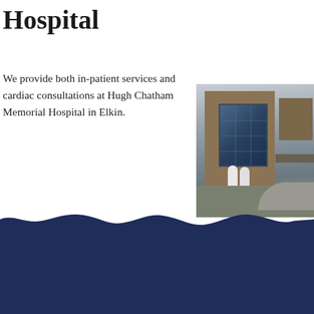Hospital
We provide both in-patient services and cardiac consultations at Hugh Chatham Memorial Hospital in Elkin.
[Figure (photo): Exterior photo of Hugh Chatham Memorial Hospital building with brick facade, large glass windows, and people in white coats walking outside]
Call one of our office
Elkin
Mount